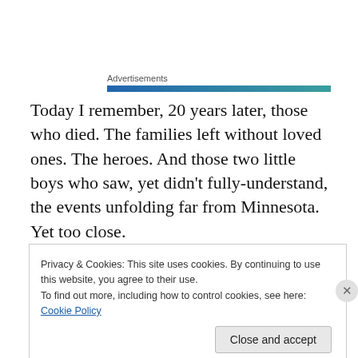Advertisements
[Figure (other): Gradient advertisement banner bar, blue to teal]
Today I remember, 20 years later, those who died. The families left without loved ones. The heroes. And those two little boys who saw, yet didn’t fully-understand, the events unfolding far from Minnesota. Yet too close.
Here’s a poem I wrote shortly after September 11, 2001:
Privacy & Cookies: This site uses cookies. By continuing to use this website, you agree to their use.
To find out more, including how to control cookies, see here: Cookie Policy
Close and accept